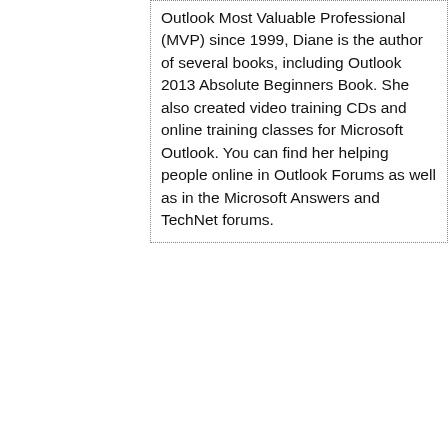Outlook Most Valuable Professional (MVP) since 1999, Diane is the author of several books, including Outlook 2013 Absolute Beginners Book. She also created video training CDs and online training classes for Microsoft Outlook. You can find her helping people online in Outlook Forums as well as in the Microsoft Answers and TechNet forums.